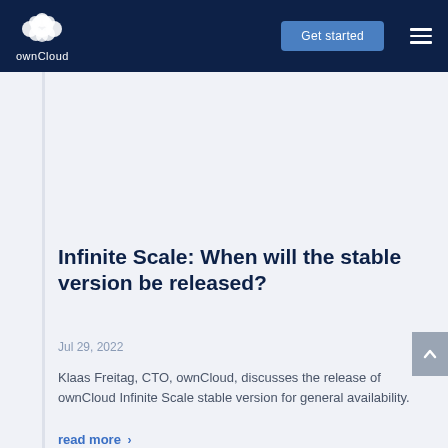ownCloud — Get started
Infinite Scale: When will the stable version be released?
Jul 29, 2022
Klaas Freitag, CTO, ownCloud, discusses the release of ownCloud Infinite Scale stable version for general availability.
read more >